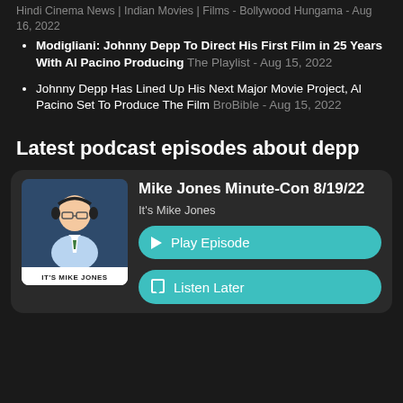Hindi Cinema News | Indian Movies | Films - Bollywood Hungama - Aug 16, 2022
Modigliani: Johnny Depp To Direct His First Film in 25 Years With Al Pacino Producing The Playlist - Aug 15, 2022
Johnny Depp Has Lined Up His Next Major Movie Project, Al Pacino Set To Produce The Film BroBible - Aug 15, 2022
Latest podcast episodes about depp
[Figure (illustration): Podcast artwork for It's Mike Jones showing a cartoon man in a suit with headphones, with label 'IT'S MIKE JONES' at the bottom]
Mike Jones Minute-Con 8/19/22
It's Mike Jones
Play Episode
Listen Later